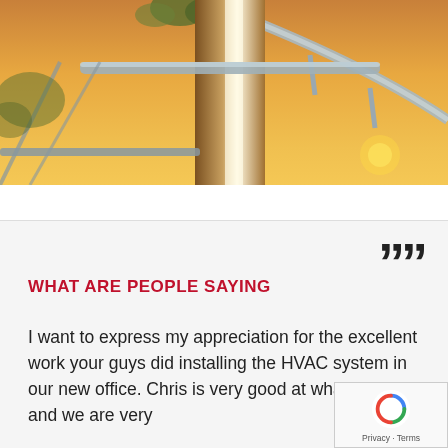[Figure (photo): A roller coaster or architectural structure photographed at sunset/dusk with warm golden-orange tones. Curved steel rails and a large cylindrical column visible against a warm yellow-orange sky.]
WHAT ARE PEOPLE SAYING
I want to express my appreciation for the excellent work your guys did installing the HVAC system in our new office. Chris is very good at what he does and we are very